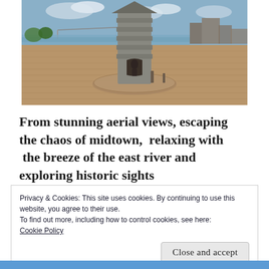[Figure (photo): Outdoor photo of a stone monument or tower structure on a brick plaza near a river. A bridge and city skyline are visible in the background under a partly cloudy sky.]
From stunning aerial views, escaping the chaos of midtown,  relaxing with  the breeze of the east river and exploring historic sights
Privacy & Cookies: This site uses cookies. By continuing to use this website, you agree to their use.
To find out more, including how to control cookies, see here:
Cookie Policy
Close and accept